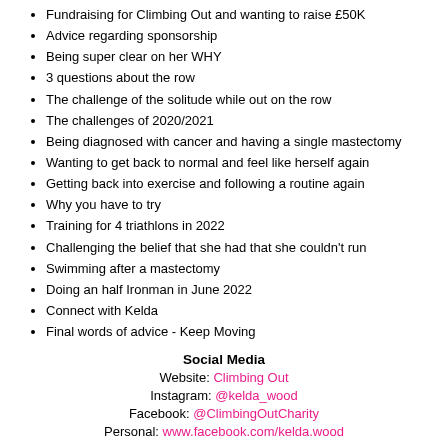Fundraising for Climbing Out and wanting to raise £50K
Advice regarding sponsorship
Being super clear on her WHY
3 questions about the row
The challenge of the solitude while out on the row
The challenges of 2020/2021
Being diagnosed with cancer and having a single mastectomy
Wanting to get back to normal and feel like herself again
Getting back into exercise and following a routine again
Why you have to try
Training for 4 triathlons in 2022
Challenging the belief that she had that she couldn't run
Swimming after a mastectomy
Doing an half Ironman in June 2022
Connect with Kelda
Final words of advice - Keep Moving
Social Media
Website: Climbing Out
Instagram: @kelda_wood
Facebook: @ClimbingOutCharity
Personal: www.facebook.com/kelda.wood